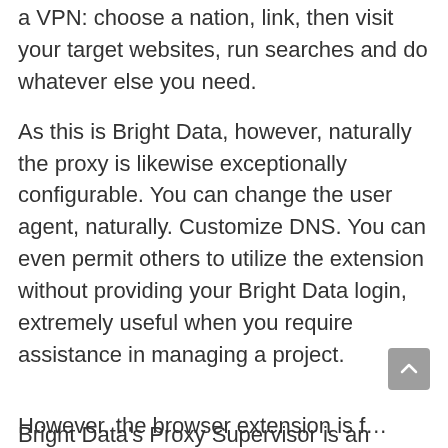a VPN: choose a nation, link, then visit your target websites, run searches and do whatever else you need.
As this is Bright Data, however, naturally the proxy is likewise exceptionally configurable. You can change the user agent, naturally. Customize DNS. You can even permit others to utilize the extension without providing your Bright Data login, extremely useful when you require assistance in managing a project.
Bright Data's Proxy Supervisor is an open-source desktop tool which is stuffed with methods to automate and optimize your proxy tasks.
However, the browser extension is for...